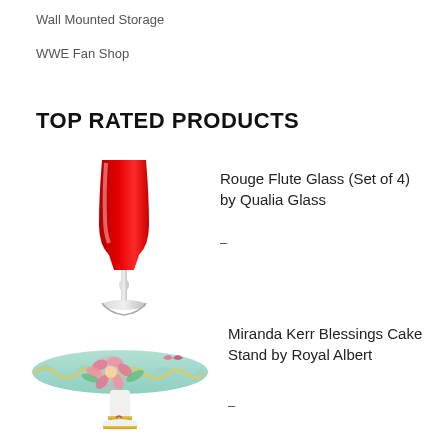Wall Mounted Storage
WWE Fan Shop
TOP RATED PRODUCTS
[Figure (photo): Red flute champagne glass with clear stem and base]
Rouge Flute Glass (Set of 4) by Qualia Glass
-
[Figure (photo): Light blue floral cake stand with pink roses, Miranda Kerr Blessings design]
Miranda Kerr Blessings Cake Stand by Royal Albert
-